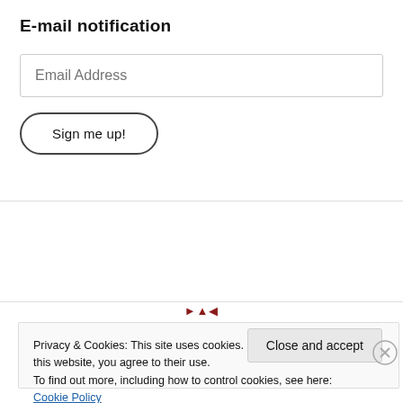E-mail notification
Email Address
Sign me up!
Privacy & Cookies: This site uses cookies. By continuing to use this website, you agree to their use.
To find out more, including how to control cookies, see here: Cookie Policy
Close and accept